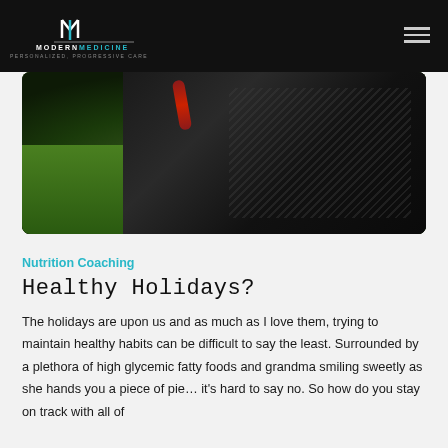MODERNMEDICINE — PERSONALIZED, PROGRESSIVE CARE
[Figure (photo): Close-up photograph of a turkey bird with dark feathers and red neck, standing on green grass]
Nutrition Coaching
Healthy Holidays?
The holidays are upon us and as much as I love them, trying to maintain healthy habits can be difficult to say the least. Surrounded by a plethora of high glycemic fatty foods and grandma smiling sweetly as she hands you a piece of pie… it's hard to say no. So how do you stay on track with all of